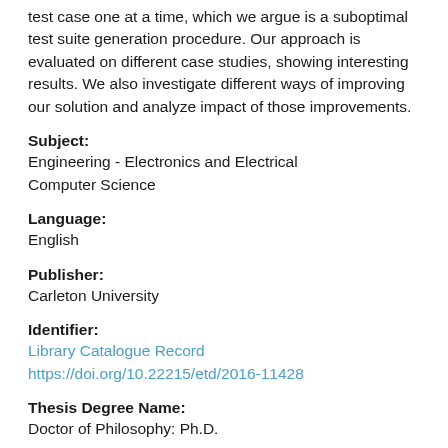test case one at a time, which we argue is a suboptimal test suite generation procedure. Our approach is evaluated on different case studies, showing interesting results. We also investigate different ways of improving our solution and analyze impact of those improvements.
Subject:
Engineering - Electronics and Electrical Computer Science
Language:
English
Publisher:
Carleton University
Identifier:
Library Catalogue Record
https://doi.org/10.22215/etd/2016-11428
Thesis Degree Name:
Doctor of Philosophy: Ph.D.